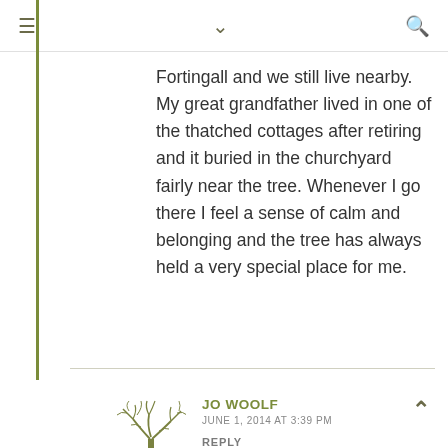≡ ∨ 🔍
Fortingall and we still live nearby. My great grandfather lived in one of the thatched cottages after retiring and it buried in the churchyard fairly near the tree. Whenever I go there I feel a sense of calm and belonging and the tree has always held a very special place for me.
JO WOOLF
JUNE 1, 2014 AT 3:39 PM
REPLY